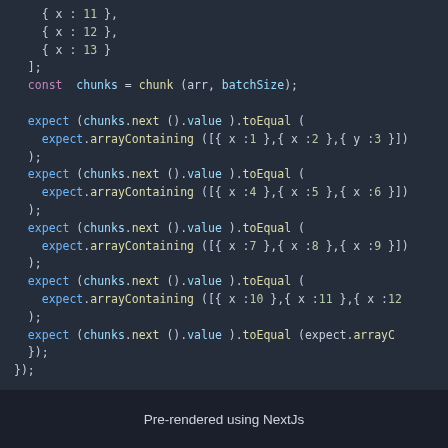[Figure (screenshot): Dark-themed code editor screenshot showing JavaScript test code with expect/chunk generator function calls. Code includes array definitions with x:11, x:12, x:13, const chunks = chunk(arr, batchSize), and multiple expect(chunks.next().value).toEqual(expect.arrayContaining([...])) assertions for batches of objects.]
Pre-rendered using NextJs